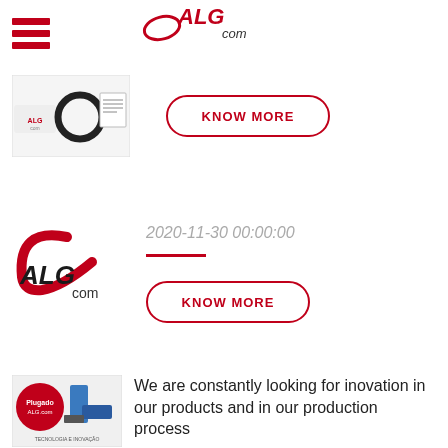[Figure (logo): Hamburger menu icon with three red horizontal bars]
[Figure (logo): ALG.com logo in red italic script at top header]
[Figure (photo): Thumbnail showing ALG.com product images including an O-ring and document]
KNOW MORE
[Figure (logo): ALG.com large red and black swoosh logo]
2020-11-30 00:00:00
KNOW MORE
[Figure (photo): Thumbnail showing Plugado ALG.com product with blue robotic arm, TECNOLOGIA E INOVAÇÃO text]
We are constantly looking for inovation in our products and in our production process